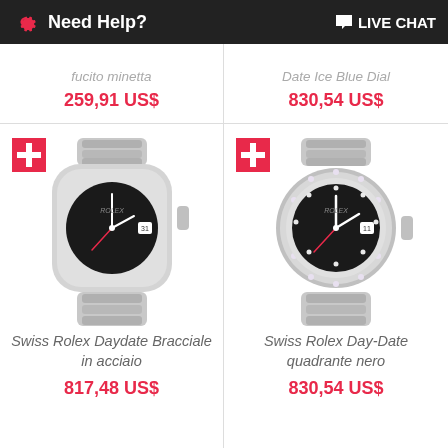Need Help? LIVE CHAT
Fucito minetta
259,91 US$
Date Ice Blue Dial
830,54 US$
[Figure (photo): Rolex Daydate watch with black dial and steel bracelet, shown with Swiss flag badge]
Swiss Rolex Daydate Bracciale in acciaio
817,48 US$
[Figure (photo): Rolex Day-Date watch with black diamond-studded dial and president bracelet, shown with Swiss flag badge]
Swiss Rolex Day-Date quadrante nero
830,54 US$